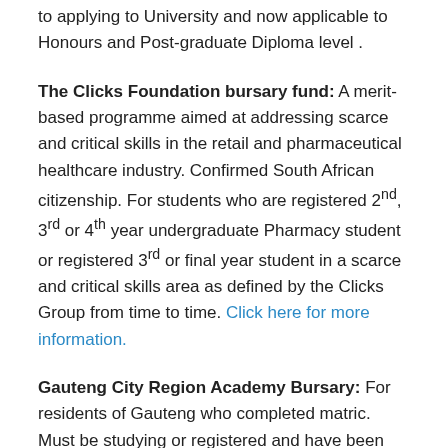to applying to University and now applicable to Honours and Post-graduate Diploma level .
The Clicks Foundation bursary fund: A merit-based programme aimed at addressing scarce and critical skills in the retail and pharmaceutical healthcare industry. Confirmed South African citizenship. For students who are registered 2nd, 3rd or 4th year undergraduate Pharmacy student or registered 3rd or final year student in a scarce and critical skills area as defined by the Clicks Group from time to time. Click here for more information.
Gauteng City Region Academy Bursary: For residents of Gauteng who completed matric. Must be studying or registered and have been accepted at a higher education institution. Must be a South African citizen between 18 and 35 years of age. For more information, visit their website here.
Department of Labour Bursaries: Students with